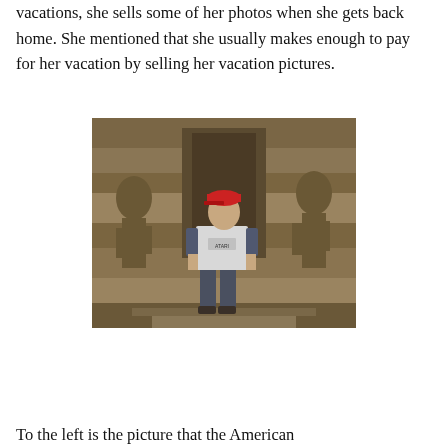She mentioned that when she goes on vacations, she sells some of her photos when she gets back home. She mentioned that she usually makes enough to pay for her vacation by selling her vacation pictures.
[Figure (photo): A person wearing a red cap and an Atari t-shirt standing in front of an ancient stone temple with carved sculptures, likely Angkor Wat or a similar Cambodian temple.]
To the left is the picture that the American